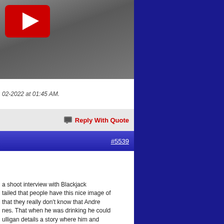[Figure (screenshot): YouTube video thumbnail showing a shirtless man in what appears to be a gym or workout area, with a red YouTube play button overlay in the top-left corner]
02-2022 at 01:45 AM.
Reply With Quote
#5539
a shoot interview with Blackjack Mulligan details a story where him and a hotel room and soon enough Andre wants... tailed that people have this nice image of that they really don't know that Andre nes. That when he was drinking he could ulligan details a story where him and el room and soon enough Andre wants